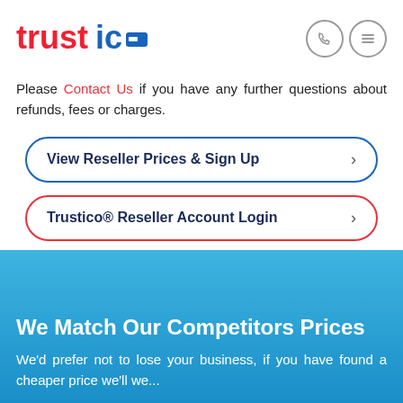[Figure (logo): Trustico logo in red and blue with blue card icon]
Please Contact Us if you have any further questions about refunds, fees or charges.
View Reseller Prices & Sign Up >
Trustico® Reseller Account Login >
We Match Our Competitors Prices
We'd prefer not to lose your business, if you have found a cheaper price we'll we...